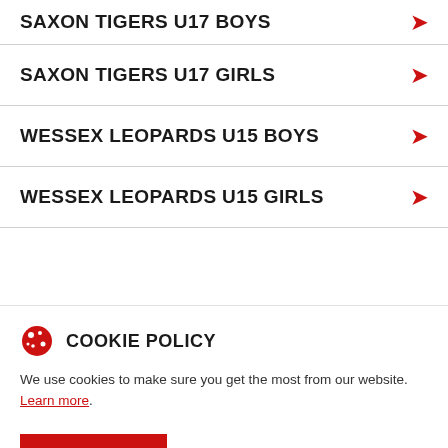SAXON TIGERS U17 BOYS
SAXON TIGERS U17 GIRLS
WESSEX LEOPARDS U15 BOYS
WESSEX LEOPARDS U15 GIRLS
COOKIE POLICY
We use cookies to make sure you get the most from our website. Learn more.
ACCEPT